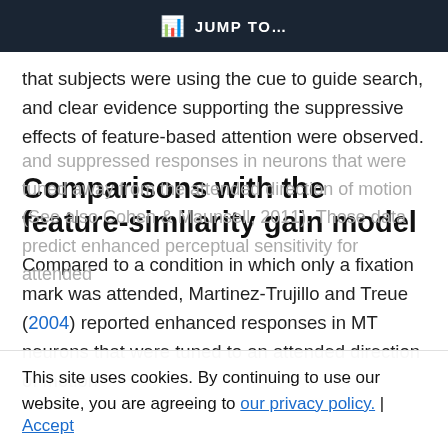JUMP TO...
that subjects were using the cue to guide search, and clear evidence supporting the suppressive effects of feature-based attention were observed.
Comparisons with the feature-similarity gain model
Compared to a condition in which only a fixation mark was attended, Martinez-Trujillo and Treue (2004) reported enhanced responses in MT neurons that were tuned to an attended direction of motion
and suppressed responses in neurons that were tuned away from the attended direction of motion (See also Cohen & Maunsell, 2011). Those data predict enhanced perceptual sensitivity for attended
This site uses cookies. By continuing to use our website, you are agreeing to our privacy policy.
Accept